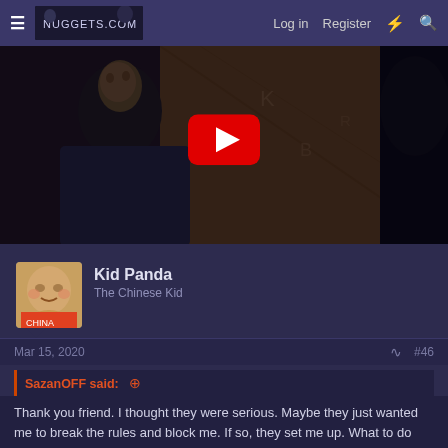≡  NUGGETS.COM   Log in   Register  ⚡  🔍
[Figure (screenshot): YouTube video thumbnail showing a movie scene with a man looking up, with a red YouTube play button overlay in the center]
Kid Panda
The Chinese Kid
Mar 15, 2020   #46
SazanOFF said:
Thank you friend. I thought they were serious. Maybe they just wanted me to break the rules and block me. If so, they set me up. What to do means such people, nothing more. I understand that there is no rating for me, but I do not plan to deceive anyone. Maybe someone wants to sell this game.